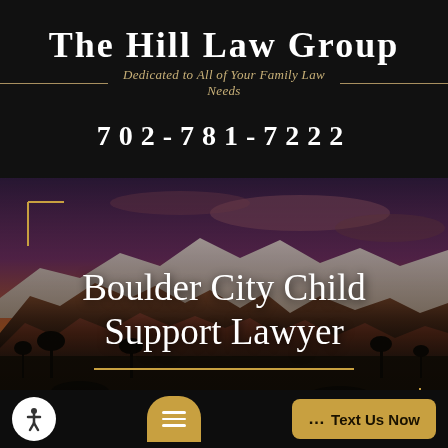[Figure (logo): The Hill Law Group logo on black background with ornamental double lines]
The Hill Law Group
Dedicated to All of Your Family Law Needs
702-781-7222
[Figure (photo): Desert mountain landscape (Red Rock Canyon area) with dramatic purple and orange sunset sky, Joshua trees in foreground, dark overlay]
Boulder City Child Support Lawyer
[Figure (other): Bottom navigation bar with accessibility icon (white circle with person), gold chat button, and gold 'Text Us Now' button]